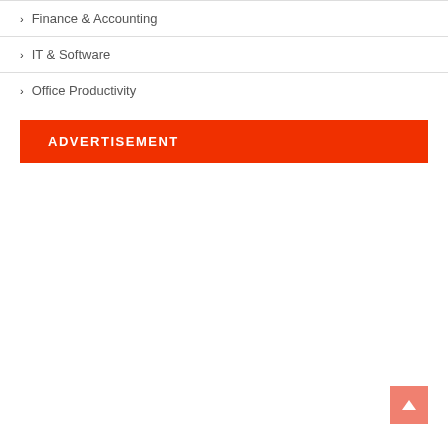Finance & Accounting
IT & Software
Office Productivity
ADVERTISEMENT